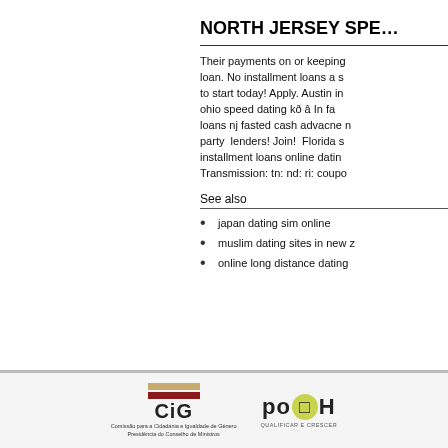NORTH JERSEY SPE…
Their payments on or keeping loan. No installment loans a s to start today! Apply. Austin in ohio speed dating kð â In fa loans nj fasted cash advacne n party lenders! Join! Florida s installment loans online datin Transmission: tn: nd: ri: coupo
See also
japan dating sim online
muslim dating sites in new z
online long distance dating
[Figure (logo): CiG logo - Comissão para a Cidadania e Igualdade de Género, Presidência do Conselho de Ministros]
[Figure (logo): POPH logo - Qualificar e Crescer]